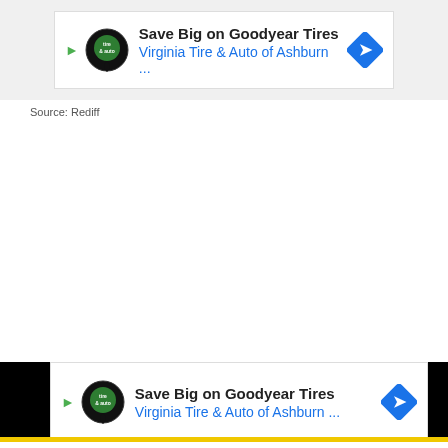[Figure (other): Advertisement banner: Save Big on Goodyear Tires - Virginia Tire & Auto of Ashburn ...]
Source: Rediff
12. Ahem...Okay.
[Figure (other): Advertisement banner (bottom): Save Big on Goodyear Tires - Virginia Tire & Auto of Ashburn ...]